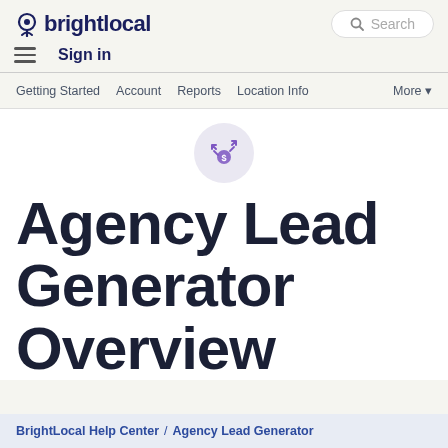brightlocal | Search
≡  Sign in
Getting Started  Account  Reports  Location Info  More ▼
[Figure (logo): BrightLocal Agency Lead Generator icon — small purple graphic with dollar sign and arrow motifs inside a light circular background]
Agency Lead Generator Overview
BrightLocal Help Center / Agency Lead Generator